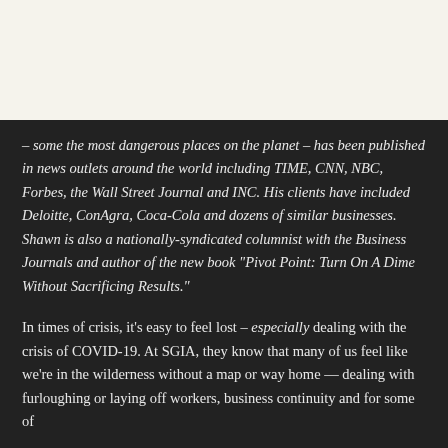– some the most dangerous places on the planet – has been published in news outlets around the world including TIME, CNN, NBC, Forbes, the Wall Street Journal and INC. His clients have included Deloitte, ConAgra, Coca-Cola and dozens of similar businesses. Shawn is also a nationally-syndicated columnist with the Business Journals and author of the new book "Pivot Point: Turn On A Dime Without Sacrificing Results."
In times of crisis, it's easy to feel lost – especially dealing with the crisis of COVID-19. At SGIA, they know that many of us feel like we're in the wilderness without a map or way home — dealing with furloughing or laying off workers, business continuity and for some of